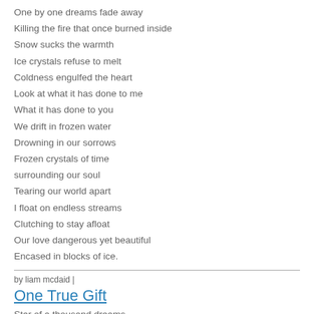One by one dreams fade away
Killing the fire that once burned inside
Snow sucks the warmth
Ice crystals refuse to melt
Coldness engulfed the heart
Look at what it has done to me
What it has done to you
We drift in frozen water
Drowning in our sorrows
Frozen crystals of time
surrounding our soul
Tearing our world apart
I float on endless streams
Clutching to stay afloat
Our love dangerous yet beautiful
Encased in blocks of ice.
by liam mcdaid |
One True Gift
Star of a thousand dreams